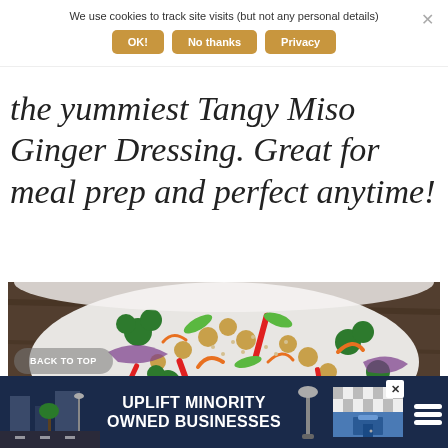We use cookies to track site visits (but not any personal details)
OK! | No thanks | Privacy
the yummiest Tangy Miso Ginger Dressing. Great for meal prep and perfect anytime!
[Figure (photo): A white bowl filled with a colorful salad including broccoli, red pepper strips, carrots, chickpeas, cabbage, and grains, on a dark wooden surface]
BACK TO TOP
[Figure (infographic): Advertisement banner: UPLIFT MINORITY OWNED BUSINESSES with building/street imagery on dark navy background]